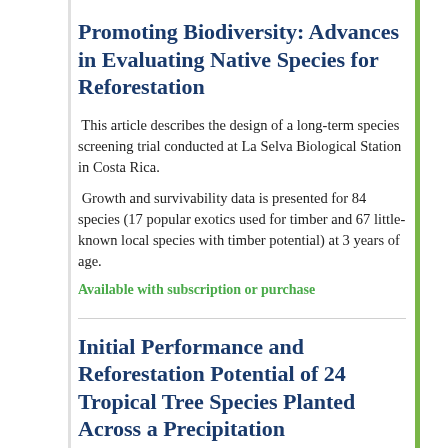Promoting Biodiversity: Advances in Evaluating Native Species for Reforestation
This article describes the design of a long-term species screening trial conducted at La Selva Biological Station in Costa Rica.
Growth and survivability data is presented for 84 species (17 popular exotics used for timber and 67 little-known local species with timber potential) at 3 years of age.
Available with subscription or purchase
Initial Performance and Reforestation Potential of 24 Tropical Tree Species Planted Across a Precipitation